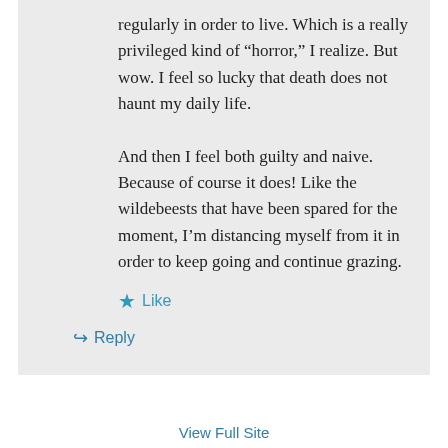regularly in order to live. Which is a really privileged kind of “horror,” I realize. But wow. I feel so lucky that death does not haunt my daily life.

And then I feel both guilty and naive. Because of course it does! Like the wildebeests that have been spared for the moment, I’m distancing myself from it in order to keep going and continue grazing.
★ Like
↪ Reply
View Full Site